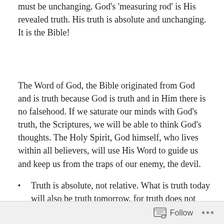must be unchanging. God's 'measuring rod' is His revealed truth. His truth is absolute and unchanging. It is the Bible!
The Word of God, the Bible originated from God and is truth because God is truth and in Him there is no falsehood. If we saturate our minds with God's truth, the Scriptures, we will be able to think God's thoughts. The Holy Spirit, God himself, who lives within all believers, will use His Word to guide us and keep us from the traps of our enemy, the devil.
Truth is absolute, not relative. What is truth today will also be truth tomorrow, for truth does not change with time or context. What does God say about truth in the following passages? — John 14:1,6,16-17; John 16:13-
Follow